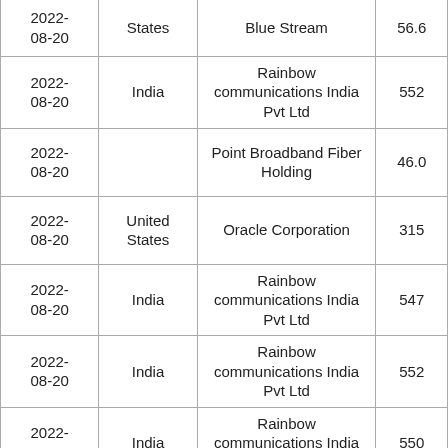| Date | Country | Company | Value |
| --- | --- | --- | --- |
| 2022-08-20 | States | Blue Stream | 56.6 |
| 2022-08-20 | India | Rainbow communications India Pvt Ltd | 552 |
| 2022-08-20 |  | Point Broadband Fiber Holding | 46.0 |
| 2022-08-20 | United States | Oracle Corporation | 315 |
| 2022-08-20 | India | Rainbow communications India Pvt Ltd | 547 |
| 2022-08-20 | India | Rainbow communications India Pvt Ltd | 552 |
| 2022-08-20 | India | Rainbow communications India Pvt Ltd | 550 |